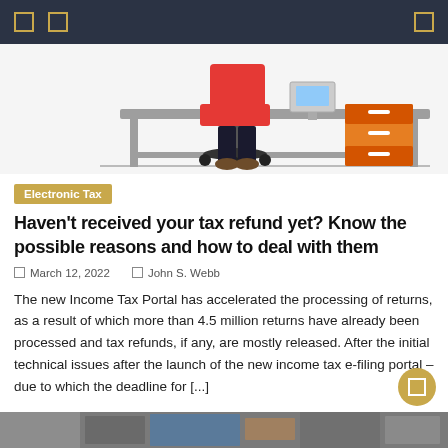[Figure (illustration): Navigation bar with dark background, two small square icons on the left and a search icon on the right in gold/yellow color]
[Figure (illustration): Illustration of a person sitting at an office desk with a red chair, a filing cabinet in orange/brown, and a grey desk surface]
Electronic Tax
Haven't received your tax refund yet? Know the possible reasons and how to deal with them
March 12, 2022   John S. Webb
The new Income Tax Portal has accelerated the processing of returns, as a result of which more than 4.5 million returns have already been processed and tax refunds, if any, are mostly released. After the initial technical issues after the launch of the new income tax e-filing portal – due to which the deadline for [...]
[Figure (photo): Bottom strip showing partial image of documents/papers]